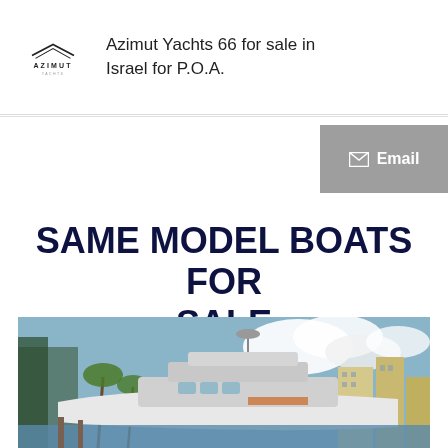Azimut Yachts 66 for sale in Israel for P.O.A.
Email
SAME MODEL BOATS FOR SALE
[Figure (photo): Aerial/dock view of a luxury Azimut motor yacht moored in a marina with tall buildings and blue sky in background. reCAPTCHA Privacy Terms overlay visible in lower left.]